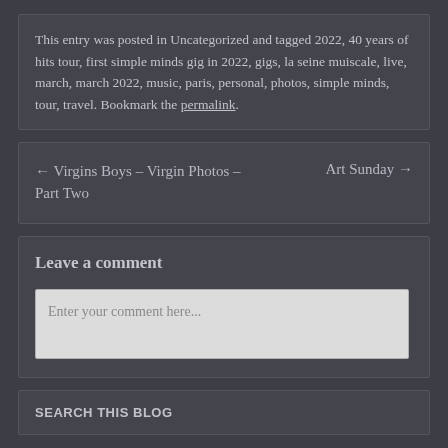This entry was posted in Uncategorized and tagged 2022, 40 years of hits tour, first simple minds gig in 2022, gigs, la seine muiscale, live, march, march 2022, music, paris, personal, photos, simple minds, tour, travel. Bookmark the permalink.
← Virgins Boys – Virgin Photos – Part Two
Art Sunday →
Leave a comment
Enter your comment here...
SEARCH THIS BLOG